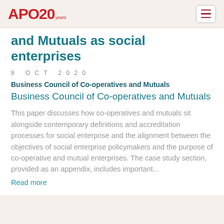APO 20 years
and Mutuals as social enterprises
8 OCT 2020
Business Council of Co-operatives and Mutuals
Business Council of Co-operatives and Mutuals
This paper discusses how co-operatives and mutuals sit alongside contemporary definitions and accreditation processes for social enterprise and the alignment between the objectives of social enterprise policymakers and the purpose of co-operative and mutual enterprises. The case study section, provided as an appendix, includes important...
Read more